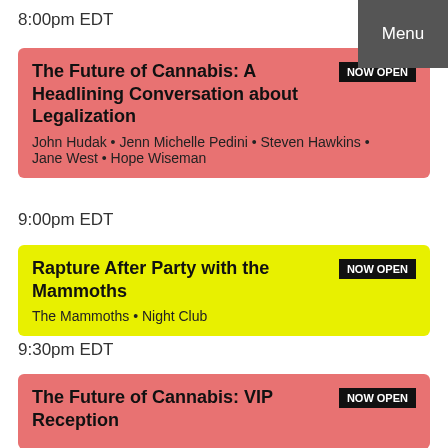Menu
8:00pm EDT
The Future of Cannabis: A Headlining Conversation about Legalization
NOW OPEN
John Hudak • Jenn Michelle Pedini • Steven Hawkins • Jane West • Hope Wiseman
9:00pm EDT
Rapture After Party with the Mammoths
NOW OPEN
The Mammoths • Night Club
9:30pm EDT
The Future of Cannabis: VIP Reception
NOW OPEN